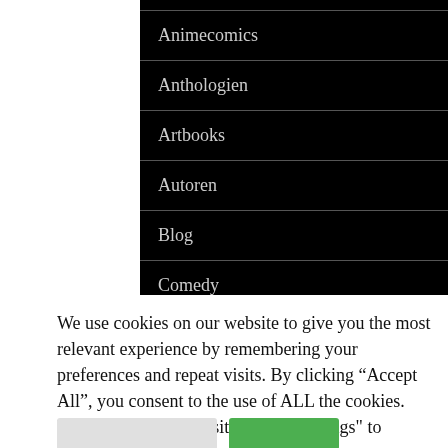Animecomics
Anthologien
Artbooks
Autoren
Blog
Comedy
Drama
We use cookies on our website to give you the most relevant experience by remembering your preferences and repeat visits. By clicking “Accept All”, you consent to the use of ALL the cookies. However, you may visit "Cookie Settings" to provide a controlled consent.